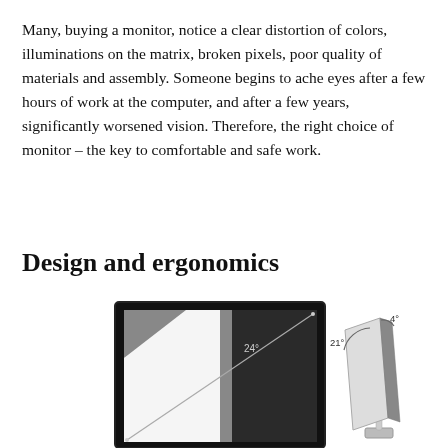Many, buying a monitor, notice a clear distortion of colors, illuminations on the matrix, broken pixels, poor quality of materials and assembly. Someone begins to ache eyes after a few hours of work at the computer, and after a few years, significantly worsened vision. Therefore, the right choice of monitor – the key to comfortable and safe work.
Design and ergonomics
[Figure (illustration): Left: a monitor showing a 24-inch diagonal measurement line with '24°' label. Right: a partial side-view illustration of a monitor tilt showing angles labeled '21°' and '4°'.]